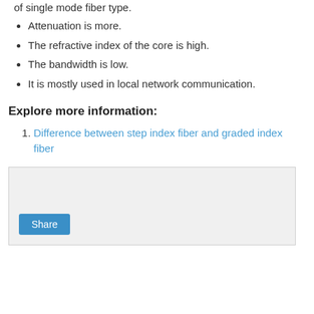of single mode fiber type.
Attenuation is more.
The refractive index of the core is high.
The bandwidth is low.
It is mostly used in local network communication.
Explore more information:
Difference between step index fiber and graded index fiber
[Figure (other): Share box with a Share button]